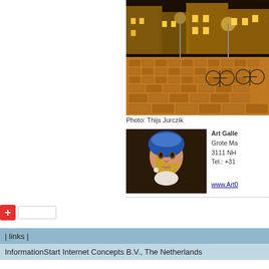[Figure (photo): Night-time city square photo with cobblestones and bicycles, warm amber lighting]
Photo: Thijs Jurczik
[Figure (photo): Painting of Girl with a Pearl Earring by Vermeer]
Art Galle
Grote Ma
3111 NH
Tel.: +31

www.Art0
| links |
InformationStart Internet Concepts B.V., The Netherlands